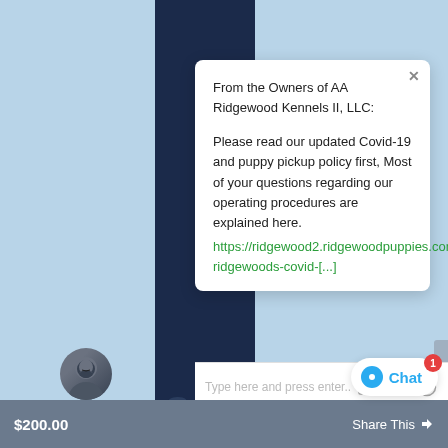[Figure (screenshot): Chat popup overlay on a pet sales website showing a message from AA Ridgewood Kennels II LLC with a Covid-19 policy link, a chat input bar, user avatar, and a Chat button with notification badge.]
From the Owners of AA Ridgewood Kennels II, LLC:
Please read our updated Covid-19 and puppy pickup policy first, Most of your questions regarding our operating procedures are explained here. https://ridgewood2.ridgewoodpuppies.com/ridgewoods-covid-[...]
Type here and press enter..
Sale — Chevy, Male Deposit Only
$200.00   Share This   Chat  1